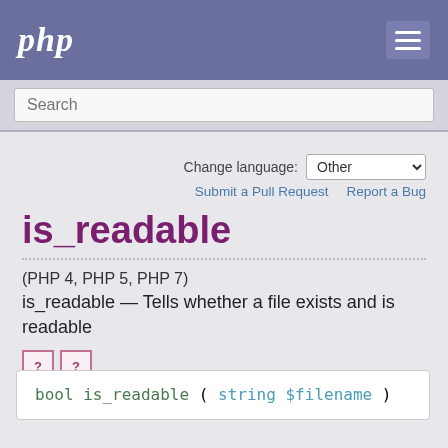php
Search
Change language: Other
Submit a Pull Request   Report a Bug
is_readable
(PHP 4, PHP 5, PHP 7)
is_readable — Tells whether a file exists and is readable
[Figure (other): Two small icon boxes with question marks]
bool is_readable ( string $filename )